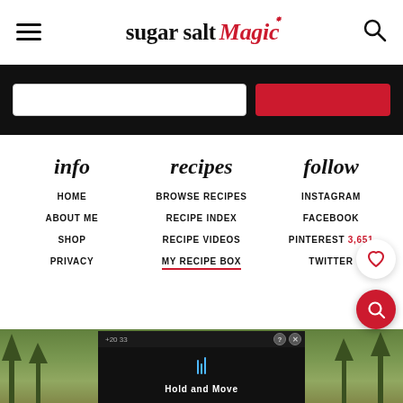sugar salt magic
[Figure (screenshot): Dark navigation banner with input fields and red button]
info
recipes
follow
HOME
BROWSE RECIPES
INSTAGRAM
ABOUT ME
RECIPE INDEX
FACEBOOK
SHOP
RECIPE VIDEOS
PINTEREST 3,651
PRIVACY
MY RECIPE BOX
TWITTER
sugar salt
[Figure (screenshot): Bottom photo of trees/nature with ad overlay showing Hold and Move text]